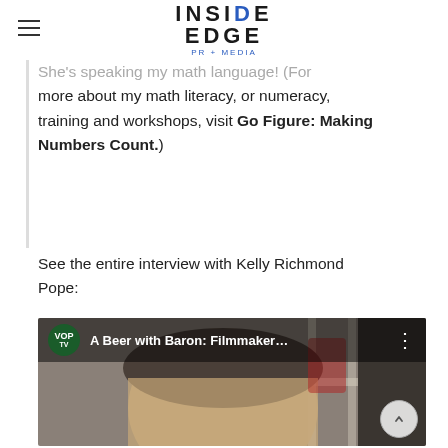INSIDE EDGE PR+MEDIA
room…
She's speaking my math language! (For more about my math literacy, or numeracy, training and workshops, visit Go Figure: Making Numbers Count.)
See the entire interview with Kelly Richmond Pope:
[Figure (screenshot): YouTube video thumbnail showing 'A Beer with Baron: Filmmaker…' with a man's face and VOP TV logo]